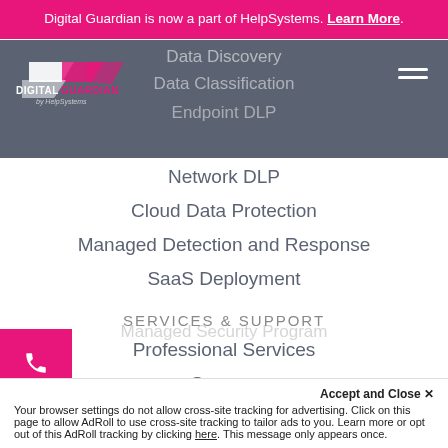Digital Guardian is now a part of HelpSystems. Learn More.
[Figure (logo): Digital Guardian by HelpSystems logo with white and pink wing/arrow graphic]
Data Discovery
Data Classification
Endpoint DLP
Network DLP
Cloud Data Protection
Managed Detection and Response
SaaS Deployment
SERVICES & SUPPORT
Professional Services
Support
Training
Managed Security Program
Accept and Close ✕
Your browser settings do not allow cross-site tracking for advertising. Click on this page to allow AdRoll to use cross-site tracking to tailor ads to you. Learn more or opt out of this AdRoll tracking by clicking here. This message only appears once.